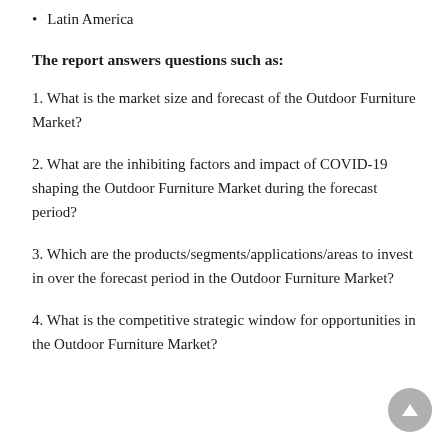Latin America
The report answers questions such as:
1. What is the market size and forecast of the Outdoor Furniture Market?
2. What are the inhibiting factors and impact of COVID-19 shaping the Outdoor Furniture Market during the forecast period?
3. Which are the products/segments/applications/areas to invest in over the forecast period in the Outdoor Furniture Market?
4. What is the competitive strategic window for opportunities in the Outdoor Furniture Market?